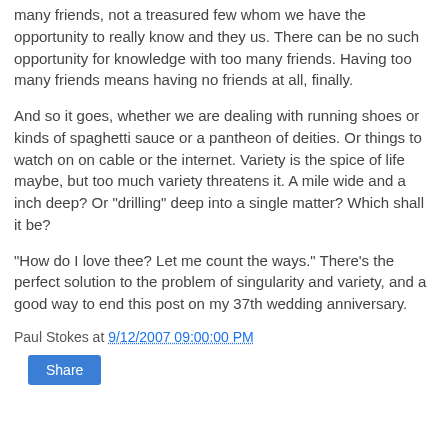many friends, not a treasured few whom we have the opportunity to really know and they us. There can be no such opportunity for knowledge with too many friends. Having too many friends means having no friends at all, finally.

And so it goes, whether we are dealing with running shoes or kinds of spaghetti sauce or a pantheon of deities. Or things to watch on on cable or the internet. Variety is the spice of life maybe, but too much variety threatens it. A mile wide and a inch deep? Or "drilling" deep into a single matter? Which shall it be?

"How do I love thee? Let me count the ways." There's the perfect solution to the problem of singularity and variety, and a good way to end this post on my 37th wedding anniversary.
Paul Stokes at 9/12/2007 09:00:00 PM
Share